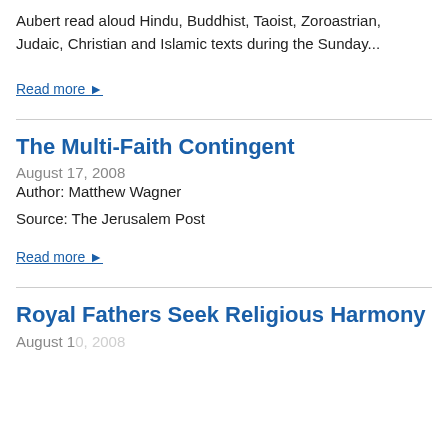Aubert read aloud Hindu, Buddhist, Taoist, Zoroastrian, Judaic, Christian and Islamic texts during the Sunday...
Read more ▶
The Multi-Faith Contingent
August 17, 2008
Author: Matthew Wagner
Source: The Jerusalem Post
Read more ▶
Royal Fathers Seek Religious Harmony